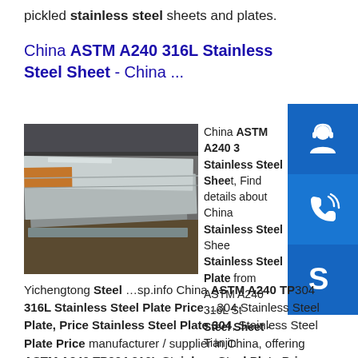pickled stainless steel sheets and plates.
China ASTM A240 316L Stainless Steel Sheet - China ...
[Figure (photo): Stack of stainless steel sheets/plates photographed from above, showing layered metallic surfaces in grey and brown tones.]
China ASTM A240 316L Stainless Steel Sheet, Find details about China Stainless Steel Sheet, Stainless Steel Plate from ASTM A240 316L Stainless Steel Sheet - Tianjin Yichengtong Steel …sp.info China ASTM A240 TP304 316L Stainless Steel Plate Price ...304 Stainless Steel Plate, Price Stainless Steel Plate 304, Stainless Steel Plate Price manufacturer / supplier in China, offering ASTM A240 TP304 316L Stainless Steel Plate Price, Casting Pressure Reducing Valve as Per DIN50930 En1567, API 5L X42 X46 X52 X56 10d 45 Degree 60 Degree 90 Degree Hot Induction Carbon Steel Bend and